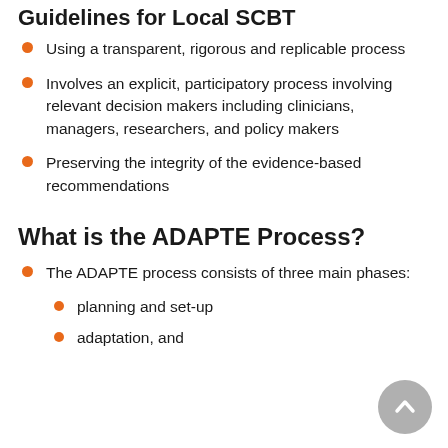Guidelines for Local SCBT
Using a transparent, rigorous and replicable process
Involves an explicit, participatory process involving relevant decision makers including clinicians, managers, researchers, and policy makers
Preserving the integrity of the evidence-based recommendations
What is the ADAPTE Process?
The ADAPTE process consists of three main phases:
planning and set-up
adaptation, and